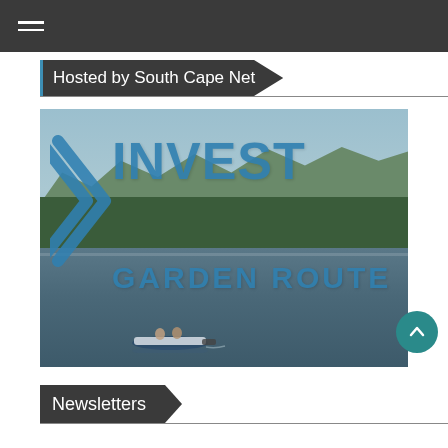≡
Hosted by South Cape Net
[Figure (photo): Invest Garden Route promotional image showing a scenic lake with two people on a motorboat, forested mountains in the background, overlaid with the text 'INVEST GARDEN ROUTE' in bold blue lettering and a blue arrow/chevron logo]
Newsletters